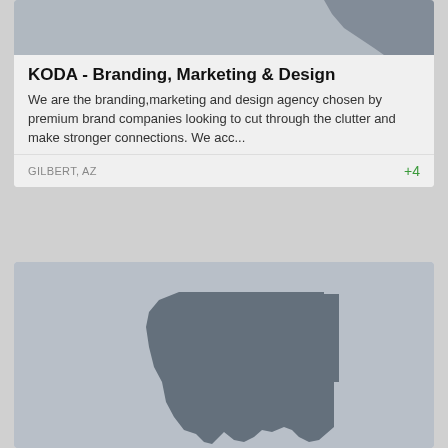[Figure (illustration): Gray placeholder image with partial Arizona state outline shape at top right]
KODA - Branding, Marketing & Design
We are the branding,marketing and design agency chosen by premium brand companies looking to cut through the clutter and make stronger connections. We acc...
GILBERT, AZ
+4
[Figure (illustration): Gray placeholder image with Arizona state outline silhouette centered]